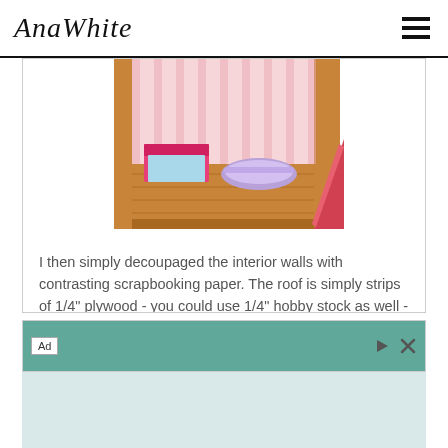AnaWhite
[Figure (photo): Partial view of a wooden dollhouse interior with pink and striped wallpaper, miniature pink bed, bathtub, and ramp/slide visible on wooden flooring]
I then simply decoupaged the interior walls with contrasting scrapbooking paper. The roof is simply strips of 1/4" plywood - you could use 1/4" hobby stock as well - cut with a scalloped shape, lapped and nailed down.
[Figure (other): Advertisement banner with teal background and 'Ad' label, with play and close icons]